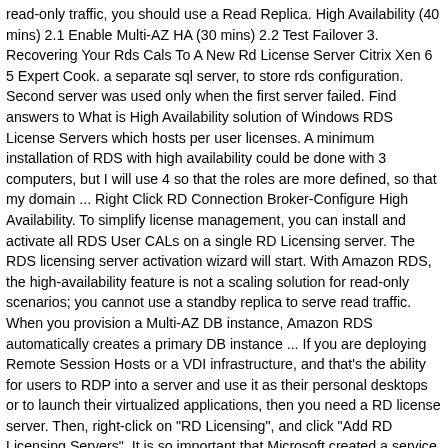read-only traffic, you should use a Read Replica. High Availability (40 mins) 2.1 Enable Multi-AZ HA (30 mins) 2.2 Test Failover 3. Recovering Your Rds Cals To A New Rd License Server Citrix Xen 6 5 Expert Cook. a separate sql server, to store rds configuration. Second server was used only when the first server failed. Find answers to What is High Availability solution of Windows RDS License Servers which hosts per user licenses. A minimum installation of RDS with high availability could be done with 3 computers, but I will use 4 so that the roles are more defined, so that my domain ... Right Click RD Connection Broker-Configure High Availability. To simplify license management, you can install and activate all RDS User CALs on a single RD Licensing server. The RDS licensing server activation wizard will start. With Amazon RDS, the high-availability feature is not a scaling solution for read-only scenarios; you cannot use a standby replica to serve read traffic. When you provision a Multi-AZ DB instance, Amazon RDS automatically creates a primary DB instance ... If you are deploying Remote Session Hosts or a VDI infrastructure, and that's the ability for users to RDP into a server and use it as their personal desktops or to launch their virtualized applications, then you need a RD license server. Then, right-click on "RD Licensing", and click "Add RD Licensing Servers". It is so important that Microsoft created a service just for this. How To Deploy Remote Desktop Services Rds ... RDS is a managed database service that will do all the heavy lifting that you normally must-do. In addition, we apologize in advance for the length of the text right but it's the minimum amount of for